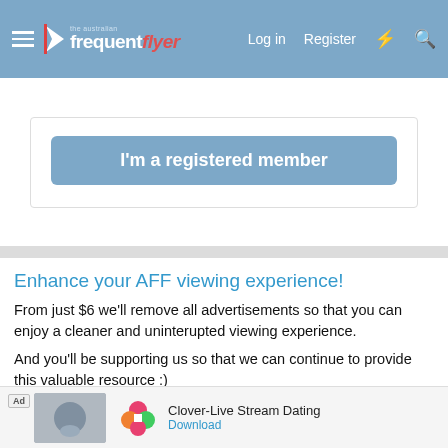the australian frequent flyer | Log in  Register
[Figure (screenshot): Button: I'm a registered member]
Enhance your AFF viewing experience!
From just $6 we'll remove all advertisements so that you can enjoy a cleaner and uninterupted viewing experience.
And you'll be supporting us so that we can continue to provide this valuable resource :)
[Figure (other): Green button: Upgrade Now!]
Sample AFF with no advertisements? More..
Recent Posts
[Figure (other): Ad banner: Clover-Live Stream Dating, Download]